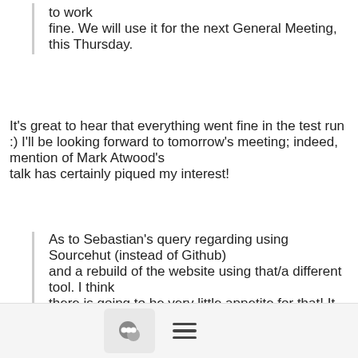to work
fine. We will use it for the next General Meeting, this Thursday.
It's great to hear that everything went fine in the test run :) I'll be looking forward to tomorrow's meeting; indeed, mention of Mark Atwood's
talk has certainly piqued my interest!
As to Sebastian's query regarding using Sourcehut (instead of Github)
and a rebuild of the website using that/a different tool. I think
there is going to be very little appetite for that! It took a long
time to fully move over to Github as it was! Any change of this type
involves a fair amount of work and disruption to the normal
[Figure (screenshot): Toolbar with chat bubble icon button and hamburger menu icon]